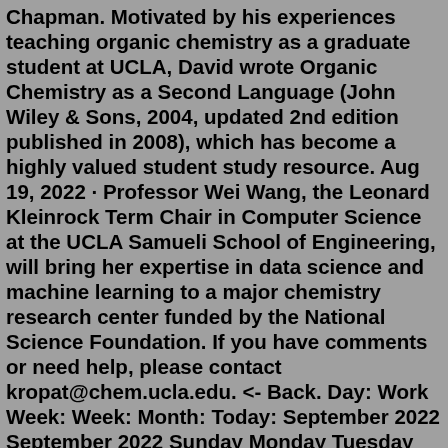Chapman. Motivated by his experiences teaching organic chemistry as a graduate student at UCLA, David wrote Organic Chemistry as a Second Language (John Wiley & Sons, 2004, updated 2nd edition published in 2008), which has become a highly valued student study resource. Aug 19, 2022 · Professor Wei Wang, the Leonard Kleinrock Term Chair in Computer Science at the UCLA Samueli School of Engineering, will bring her expertise in data science and machine learning to a major chemistry research center funded by the National Science Foundation. If you have comments or need help, please contact kropat@chem.ucla.edu. <- Back. Day: Work Week: Week: Month: Today: September 2022 September 2022 Sunday Monday Tuesday Wednesday ... 17: 18 : 19 ...Confirmations will be sent via email. If you have comments or need help, please contact kropat@chem.ucla.edu. <- Back. Day: Work Week: Week: Month: Today: August 2022 August 2022 Sunday ... • 12:00 PM Will Borrelli CHEM 17 Office Hours51: Chem Dog. Chem Dog can trace its roots